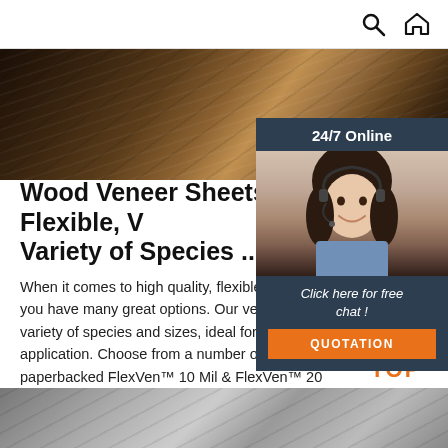Navigation bar with search and home icons
[Figure (photo): Wood veneer/flooring close-up photo showing dark wood grain texture]
[Figure (photo): 24/7 Online support chat agent - woman with headset smiling, with 'Click here for free chat!' text and QUOTATION button on dark blue background]
Wood Veneer Sheets - Flexible, W... Variety of Species ...
When it comes to high quality, flexible wood v... you have many great options. Our veneers com... variety of species and sizes, ideal for any budge... application. Choose from a number of backers,... paperbacked FlexVen™ 10 Mil & FlexVen™ 20... Tuf-Pli™, and 2-ply wood ...
[Figure (infographic): Orange TOP button with arrow/triangle dots icon pointing upward]
[Figure (photo): Bottom image strip showing gray/metallic surface or wood]